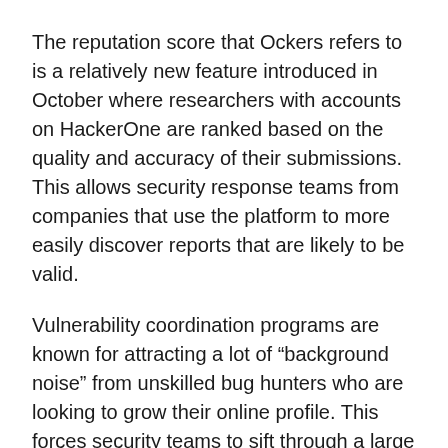The reputation score that Ockers refers to is a relatively new feature introduced in October where researchers with accounts on HackerOne are ranked based on the quality and accuracy of their submissions. This allows security response teams from companies that use the platform to more easily discover reports that are likely to be valid.
Vulnerability coordination programs are known for attracting a lot of “background noise” from unskilled bug hunters who are looking to grow their online profile. This forces security teams to sift through a large number of bogus reports. On average, Facebook discovers one valid bug for every 20 submissions it receives through its own bug bounty program, according to data published by the company. For programs hosted at